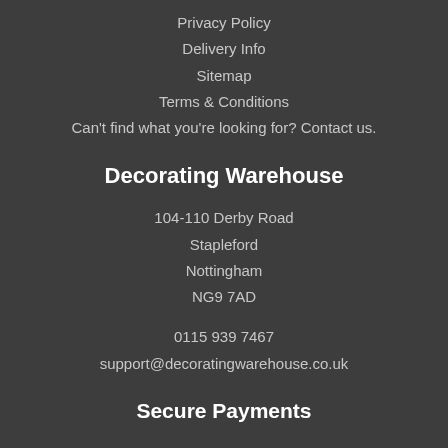Privacy Policy
Delivery Info
Sitemap
Terms & Conditions
Can't find what you're looking for? Contact us.
Decorating Warehouse
104-110 Derby Road
Stapleford
Nottingham
NG9 7AD
0115 939 7467
support@decoratingwarehouse.co.uk
Secure Payments